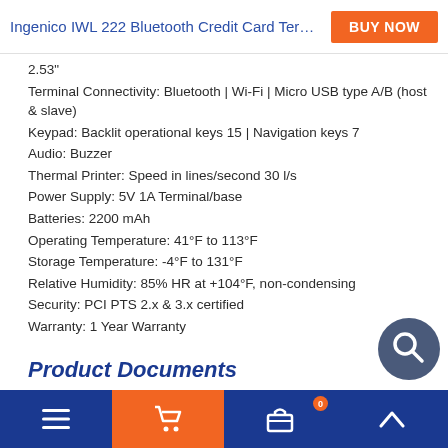Ingenico IWL 222 Bluetooth Credit Card Terminal - ...
2.53"
Terminal Connectivity: Bluetooth | Wi-Fi | Micro USB type A/B (host & slave)
Keypad: Backlit operational keys 15 | Navigation keys 7
Audio: Buzzer
Thermal Printer: Speed in lines/second 30 l/s
Power Supply: 5V 1A Terminal/base
Batteries: 2200 mAh
Operating Temperature: 41°F to 113°F
Storage Temperature: -4°F to 131°F
Relative Humidity: 85% HR at +104°F, non-condensing
Security: PCI PTS 2.x & 3.x certified
Warranty: 1 Year Warranty
Product Documents